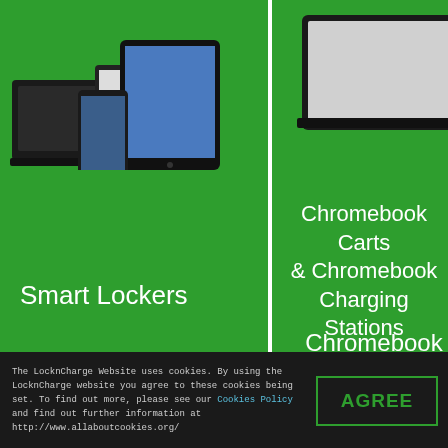[Figure (infographic): Green grid layout with 4 product cells: Smart Lockers (top-left), Chromebook Carts & Charging Stations (top-right), Android tablets (bottom-left), iPad/tablets (bottom-right). Social media icons (Facebook, Twitter) on left. Cookie consent bar at bottom.]
Smart Lockers
Chromebook Carts & Chromebook Charging Stations
The LocknCharge Website uses cookies. By using the LocknCharge website you agree to these cookies being set. To find out more, please see our Cookies Policy and find out further information at http://www.allaboutcookies.org/
AGREE